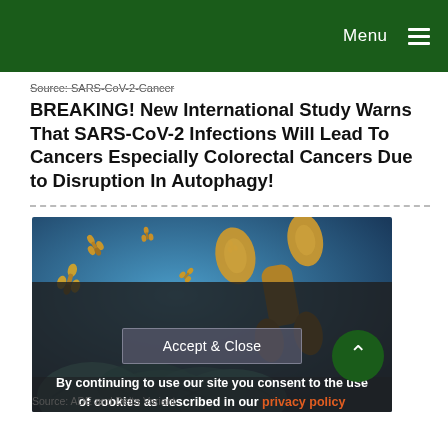Menu
Source: SARS-CoV-2-Cancer
BREAKING! New International Study Warns That SARS-CoV-2 Infections Will Lead To Cancers Especially Colorectal Cancers Due to Disruption In Autophagy!
[Figure (photo): 3D scientific illustration of antibodies (Y-shaped golden-brown proteins) floating against a blue background with teal cellular structures below]
Source: ADE and Delta Variant